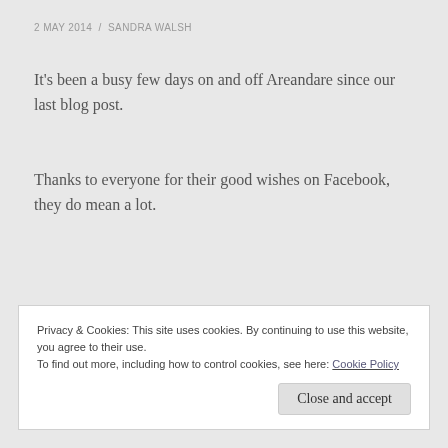2 MAY 2014  /  SANDRA WALSH
It's been a busy few days on and off Areandare since our last blog post.
Thanks to everyone for their good wishes on Facebook, they do mean a lot.
Privacy & Cookies: This site uses cookies. By continuing to use this website, you agree to their use.
To find out more, including how to control cookies, see here: Cookie Policy
Close and accept